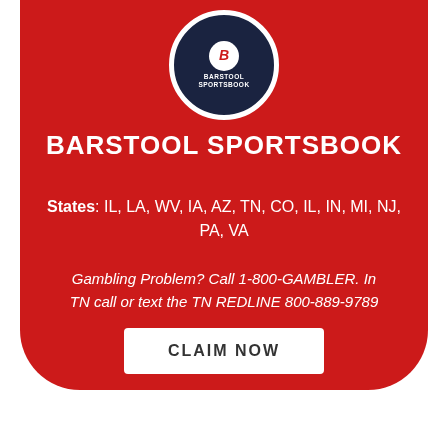[Figure (logo): Barstool Sportsbook circular logo with dark navy background and white text]
BARSTOOL SPORTSBOOK
States: IL, LA, WV, IA, AZ, TN, CO, IL, IN, MI, NJ, PA, VA
Gambling Problem? Call 1-800-GAMBLER. In TN call or text the TN REDLINE 800-889-9789
CLAIM NOW
PROMO CODE: RUSH1000